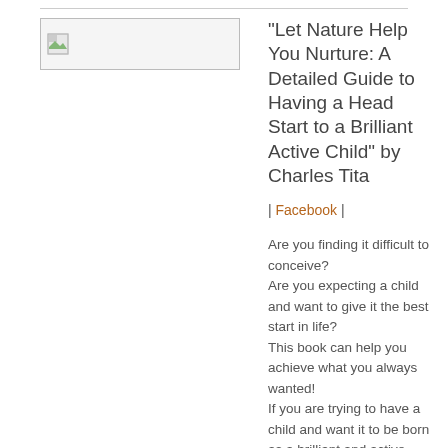[Figure (photo): Book cover image placeholder thumbnail]
“Let Nature Help You Nurture: A Detailed Guide to Having a Head Start to a Brilliant Active Child” by Charles Tita
| Facebook |
Are you finding it difficult to conceive?
Are you expecting a child and want to give it the best start in life?
This book can help you achieve what you always wanted!
If you are trying to have a child and want it to be born as a brilliant and active member of society, but have found it almost impossible to conceive, then you are not alone. It may seem like you will never share the joy that others experience, but this book will change all of that and